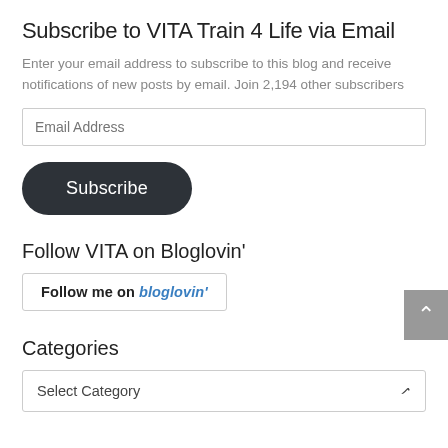Subscribe to VITA Train 4 Life via Email
Enter your email address to subscribe to this blog and receive notifications of new posts by email. Join 2,194 other subscribers
Email Address
Subscribe
Follow VITA on Bloglovin'
Follow me on bloglovin'
Categories
Select Category